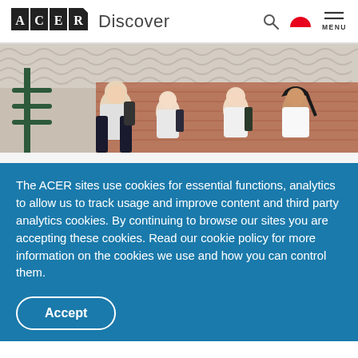ACER Discover
[Figure (photo): Four school-age children in white shirts and dark backpacks smiling outdoors in front of a brick building with a tiled roof.]
The ACER sites use cookies for essential functions, analytics to allow us to track usage and improve content and third party analytics cookies. By continuing to browse our sites you are accepting these cookies. Read our cookie policy for more information on the cookies we use and how you can control them.
Accept